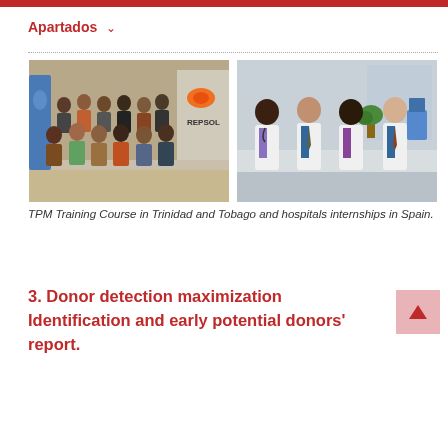Apartados
[Figure (photo): Two photos side by side: left photo shows a group of people at a TPM Training Course in Trinidad and Tobago with a Repsol banner visible; right photo shows four medical professionals in white lab coats standing together in a hospital setting in Spain.]
TPM Training Course in Trinidad and Tobago and hospitals internships in Spain.
3. Donor detection maximization Identification and early potential donors' report.